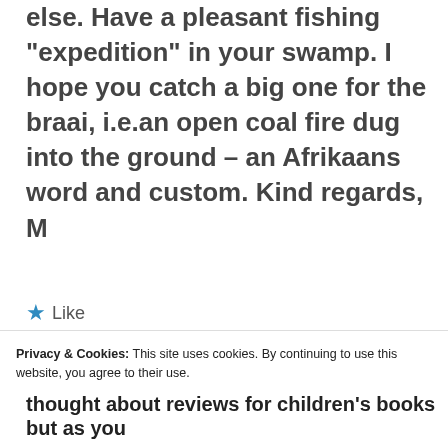else. Have a pleasant fishing “expedition” in your swamp. I hope you catch a big one for the braai, i.e.an open coal fire dug into the ground – an Afrikaans word and custom. Kind regards, M
★ Like
REPLY
[Figure (photo): Circular avatar photo of a person with dark hair]
John W. Howell
Privacy & Cookies: This site uses cookies. By continuing to use this website, you agree to their use.
To find out more, including how to control cookies, see here: Cookie Policy
Close and accept
thought about reviews for children’s books but as you